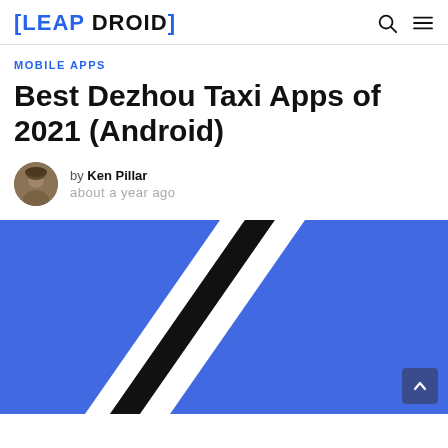[LEAP DROID]
MOBILE APPS
Best Dezhou Taxi Apps of 2021 (Android)
by Ken Pillar
about a year ago
[Figure (illustration): Hero image with blue background and diagonal black and white stripes, representing a taxi app visual.]